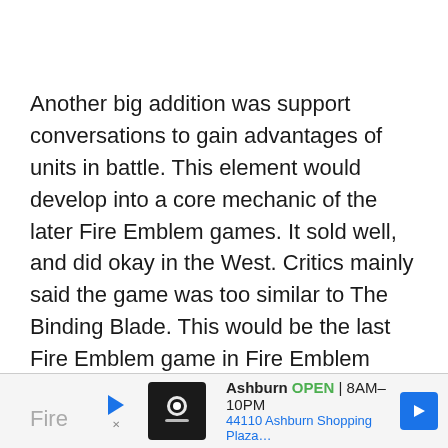Another big addition was support conversations to gain advantages of units in battle. This element would develop into a core mechanic of the later Fire Emblem games. It sold well, and did okay in the West. Critics mainly said the game was too similar to The Binding Blade. This would be the last Fire Emblem game in Fire Emblem history to be released on the Gameboy Advance. Likewise, it was the last original story for handheld console release for Fire Emblem until the 3DS' Fire Emblem Awakening.
[Figure (screenshot): Ad banner for a local business: logo icon, business name 'Ashburn', status 'OPEN 8AM-10PM', address '44110 Ashburn Shopping Plaza...', navigation arrow icon]